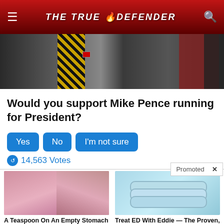THE TRUE DEFENDER
[Figure (photo): Cropped photo of two men in suits, one with a gold/black striped tie and an American flag pin]
Would you support Mike Pence running for President?
Yes | No | I'm not sure
14,563 Votes
Promoted X
[Figure (photo): A Teaspoon On An Empty Stomach Burns 12 Lbs Of Fat A Week Safely! — Two women in pink pajamas sitting on a couch]
A Teaspoon On An Empty Stomach Burns 12 Lbs Of Fat A Week Safely!
10,412
[Figure (photo): Treat ED With Eddie — The Proven, Comfortable Wearable That Comes With A Satisfaction Guarantee — light blue ring/band devices]
Treat ED With Eddie — The Proven, Comfortable Wearable That Comes With A Satisfaction Guarantee
162,062